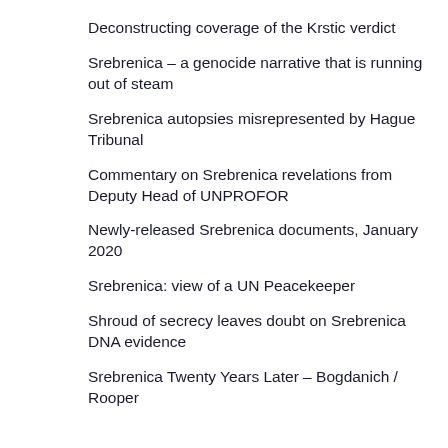Deconstructing coverage of the Krstic verdict
Srebrenica – a genocide narrative that is running out of steam
Srebrenica autopsies misrepresented by Hague Tribunal
Commentary on Srebrenica revelations from Deputy Head of UNPROFOR
Newly-released Srebrenica documents, January 2020
Srebrenica: view of a UN Peacekeeper
Shroud of secrecy leaves doubt on Srebrenica DNA evidence
Srebrenica Twenty Years Later – Bogdanich / Rooper